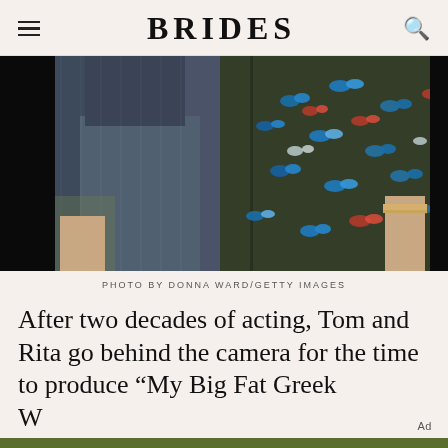BRIDES
[Figure (photo): A man in a dark suit jacket standing beside a woman in a dark floral dress decorated with blue and red butterfly sequins]
PHOTO BY DONNA WARD/GETTY IMAGES
After two decades of acting, Tom and Rita go behind the camera for the time to produce “My Big Fat Greek Wedding”
[Figure (infographic): Advertisement banner for Benjamin Moore Avocado 2145-10 paint color. Text: 'When you choose the Benjamin Moore color Avocado' with avocado icon and 'Don't end up with another brand's Rotten Fruit']